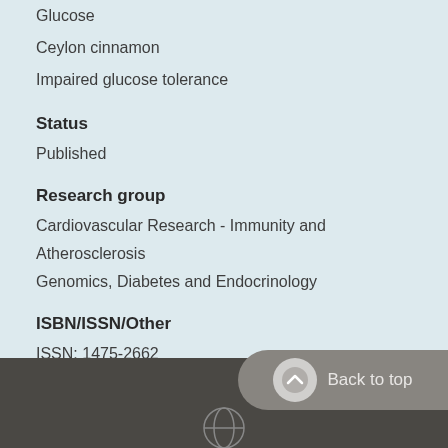Glucose
Ceylon cinnamon
Impaired glucose tolerance
Status
Published
Research group
Cardiovascular Research - Immunity and Atherosclerosis
Genomics, Diabetes and Endocrinology
ISBN/ISSN/Other
ISSN: 1475-2662
Back to top